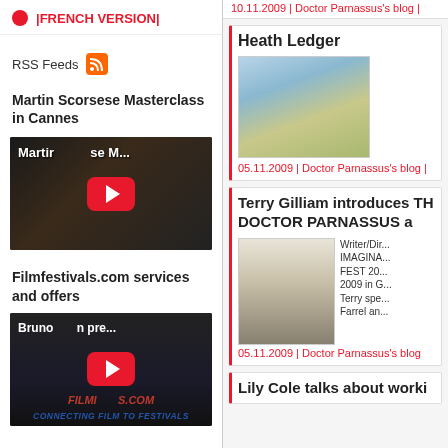|FRENCH VERSION|
RSS Feeds
Martin Scorsese Masterclass in Cannes
[Figure (screenshot): YouTube video thumbnail for Martin Scorsese Masterclass]
Filmfestivals.com services and offers
[Figure (screenshot): YouTube video thumbnail for Bruno/Filmfestivals.com promo - Connecting Film to Festivals]
10.11.2009 | Doctor Parnassus's blog |
Heath Ledger
[Figure (photo): Photo of Heath Ledger in white clothing against a countryside/sky background]
05.11.2009 | Doctor Parnassus's blog |
Terry Gilliam introduces THE DOCTOR PARNASSUS at
[Figure (photo): Photo of actor as Doctor Parnassus character in costume]
Writer/Dir... IMAGINA... FEST 20... 2009 in G... Terry spe... Farrel an...
05.11.2009 | Doctor Parnassus's blog
Lily Cole talks about worki